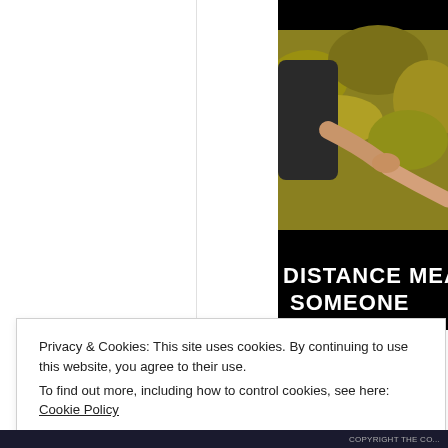[Figure (photo): Partial photo showing two people reaching/touching hands outdoors with yellow foliage in background. Bold white text overlay reads 'DISTANCE MEA... SOMEONE ...' with partial text cut off on right. Black area at top.]
Privacy & Cookies: This site uses cookies. By continuing to use this website, you agree to their use.
To find out more, including how to control cookies, see here: Cookie Policy
Close and accept
COPYRIGHT THE CO...